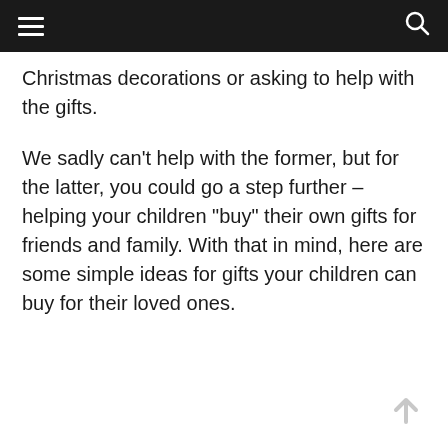navigation bar with hamburger menu and search icon
Christmas decorations or asking to help with the gifts.
We sadly can't help with the former, but for the latter, you could go a step further – helping your children "buy" their own gifts for friends and family. With that in mind, here are some simple ideas for gifts your children can buy for their loved ones.